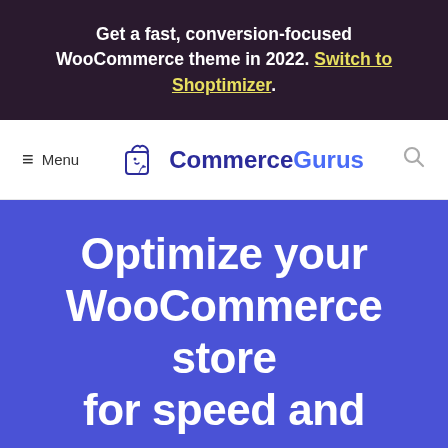Get a fast, conversion-focused WooCommerce theme in 2022. Switch to Shoptimizer.
[Figure (screenshot): Commerce Gurus navigation bar with hamburger menu, logo (shopping bag icon with cursor), and search icon]
Optimize your WooCommerce store for speed and